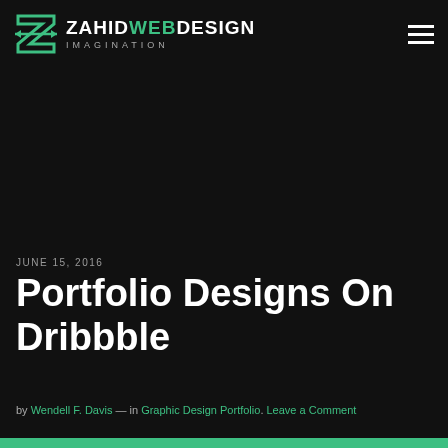ZAHID WEB DESIGN IMAGINATION
JUNE 15, 2016
Portfolio Designs On Dribbble
by Wendell F. Davis — in Graphic Design Portfolio. Leave a Comment